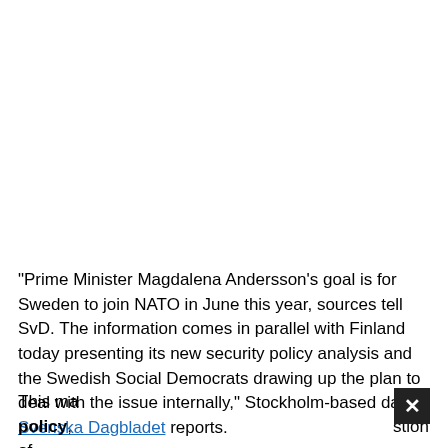"Prime Minister Magdalena Andersson's goal is for Sweden to join NATO in June this year, sources tell SvD. The information comes in parallel with Finland today presenting its new security policy analysis and the Swedish Social Democrats drawing up the plan to deal with the issue internally," Stockholm-based daily Svenska Dagbladet reports.
This ma[rks a major shift in the country's] policy[, bringing] tion of formal [NATO membership]